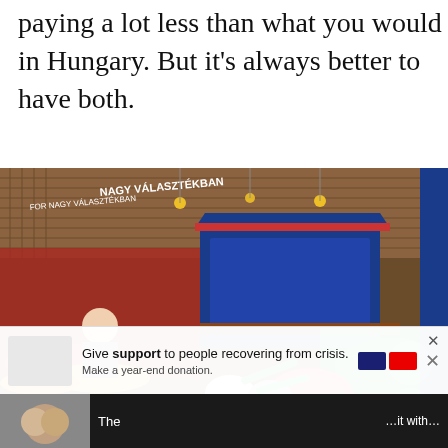paying a lot less than what you would in Hungary. But it's always better to have both.
[Figure (photo): Indoor market hall with colorful fruit and vegetable stalls, blue-framed central kiosk, price signs in Hungarian, vendor visible behind produce display. Signs read 'NAGY VÁLASZTÉKBAN'. Heart and share buttons visible bottom-right.]
Give support to people recovering from crisis. Make a year-end donation.
The